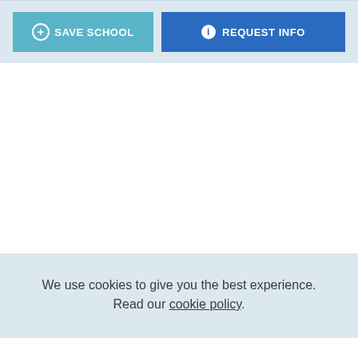[Figure (screenshot): Two action buttons side by side on a light blue-grey background: 'SAVE SCHOOL' with a plus icon (teal/cyan button) and 'REQUEST INFO' with an info icon (blue button)]
We use cookies to give you the best experience. Read our cookie policy.